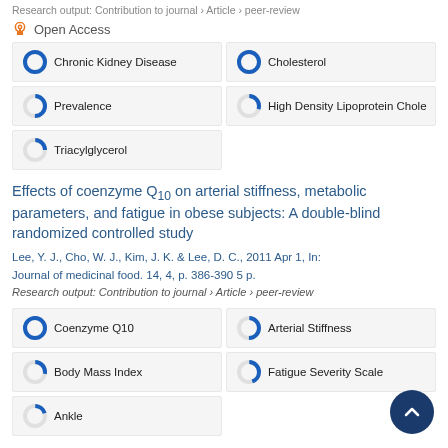Research output: Contribution to journal › Article › peer-review
Open Access
[Figure (infographic): Keyword badges with donut chart percentage indicators: Chronic Kidney Disease 100%, Cholesterol 100%, Prevalence 50%, High Density Lipoprotein Chole ~30%, Triacylglycerol ~25%]
Effects of coenzyme Q10 on arterial stiffness, metabolic parameters, and fatigue in obese subjects: A double-blind randomized controlled study
Lee, Y. J., Cho, W. J., Kim, J. K. & Lee, D. C., 2011 Apr 1, In: Journal of medicinal food. 14, 4, p. 386-390 5 p.
Research output: Contribution to journal › Article › peer-review
[Figure (infographic): Keyword badges with donut chart percentage indicators: Coenzyme Q10 100%, Arterial Stiffness ~50%, Body Mass Index ~28%, Fatigue Severity Scale ~45%, Ankle ~20%]